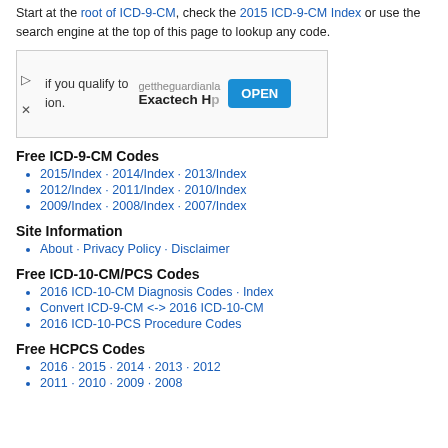Start at the root of ICD-9-CM, check the 2015 ICD-9-CM Index or use the search engine at the top of this page to lookup any code.
[Figure (other): Advertisement banner for Exactech with an OPEN button]
Free ICD-9-CM Codes
2015/Index · 2014/Index · 2013/Index
2012/Index · 2011/Index · 2010/Index
2009/Index · 2008/Index · 2007/Index
Site Information
About · Privacy Policy · Disclaimer
Free ICD-10-CM/PCS Codes
2016 ICD-10-CM Diagnosis Codes · Index
Convert ICD-9-CM <-> 2016 ICD-10-CM
2016 ICD-10-PCS Procedure Codes
Free HCPCS Codes
2016 · 2015 · 2014 · 2013 · 2012
2011 · 2010 · 2009 · 2008